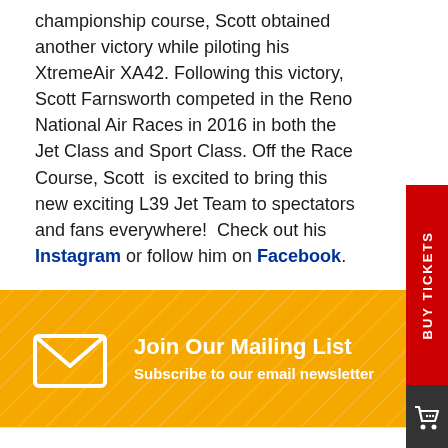championship course, Scott obtained another victory while piloting his XtremeAir XA42. Following this victory, Scott Farnsworth competed in the Reno National Air Races in 2016 in both the Jet Class and Sport Class. Off the Race Course, Scott  is excited to bring this new exciting L39 Jet Team to spectators and fans everywhere!  Check out his Instagram or follow him on Facebook.
Visit Performer Website
[Figure (other): Red vertical 'BUY TICKETS' tab on the right side of the page]
[Figure (other): Dark shopping cart icon tab below the BUY TICKETS tab]
[Figure (infographic): Orange/golden footer section with diagonal stripe pattern, envelope/mail icon, text 'Join Our Mailing List' and 'Subscribe to our email newsletter']